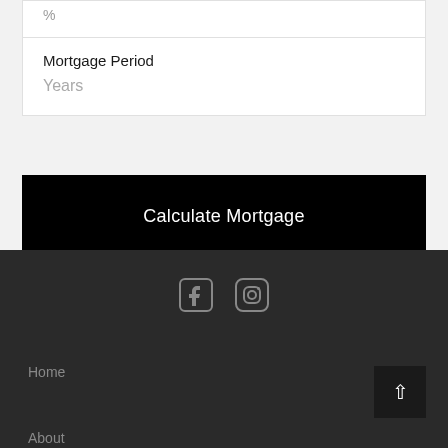%
Mortgage Period
Years
Calculate Mortgage
[Figure (illustration): Facebook icon (social media logo)]
[Figure (illustration): Instagram icon (social media logo)]
Home
About